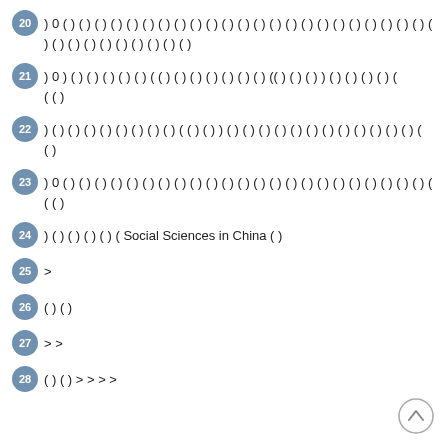20 ) 0 ( ) ( ) ( ) ( ) ( ) ( ) ( ) ( ) ( ) ( ) ( ) ( ) ( ) ( ) ( ) ( ) ( ) ( ) ( ) ( ) ( ) ( ) ( ) ( ) ( ) ( )
21 ) 0 ) ( ) ( ) ( ) ( ) ( ) ( ( ) ( ) ( ) ( ) ( ) ( ) ( ) (( ) ( ) ( ) ) ( ) ( ) ( ) ( ) ( (  )
22 ) ( ) ( ) ( ) ( ) ( ) ( ) ( ) ( ) ( ( ) ( ) ) ( ) ( ) ( ) ( ) ( ) ( ) ( ) ( ) ( ) ( ) ( ) ( ) (  ( )
23 ) 0 ( ) ( ) ( ) ( ) ( ) ( ) ( ) ( ) ( ) ( ) ( ) ( ) ( ) ( ) ( ) ( ) ( ) ( ) ( ) ( ) ( ) ( ) ( ) ( ( )
24 ) ( ) ( ) ( ) ( ) ( ) ( Social Sciences in China ( )
25 >
26 ( ) ( )
27 > >
28 ( ) ( ) > > > >